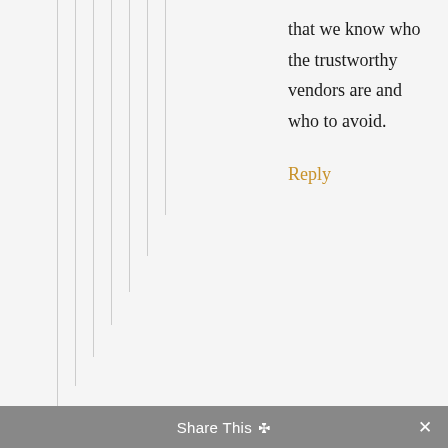that we know who the trustworthy vendors are and who to avoid.
Reply
Share This ✓ ×